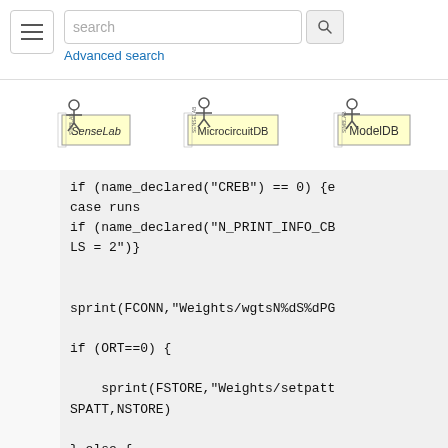[Figure (screenshot): Navigation bar with hamburger menu, search input field, search button, and Advanced search link]
[Figure (illustration): Three logos in a row: SenseLab, MicrocircuitDB, ModelDB]
if (name_declared("CREB") == 0) {e
case runs
if (name_declared("N_PRINT_INFO_CB
LS = 2")}


sprint(FCONN,"Weights/wgtsN%dS%dPG

if (ORT==0) {

    sprint(FSTORE,"Weights/setpatt
SPATT,NSTORE)

} else {
  sprint(FSTORE,"Weights/setpatt%d
l,SPATT,NSTORE,NORT)
}